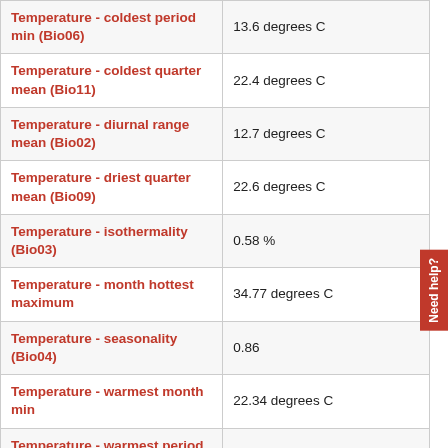| Parameter | Value |
| --- | --- |
| Temperature - coldest period min (Bio06) | 13.6 degrees C |
| Temperature - coldest quarter mean (Bio11) | 22.4 degrees C |
| Temperature - diurnal range mean (Bio02) | 12.7 degrees C |
| Temperature - driest quarter mean (Bio09) | 22.6 degrees C |
| Temperature - isothermality (Bio03) | 0.58 % |
| Temperature - month hottest maximum | 34.77 degrees C |
| Temperature - seasonality (Bio04) | 0.86 |
| Temperature - warmest month min | 22.34 degrees C |
| Temperature - warmest period max (Bio05) | 35.5 degrees C |